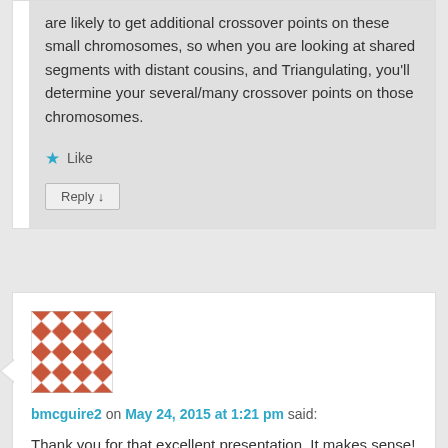are likely to get additional crossover points on these small chromosomes, so when you are looking at shared segments with distant cousins, and Triangulating, you'll determine your several/many crossover points on those chromosomes.
Like
Reply ↓
[Figure (illustration): Avatar image — geometric quilt pattern in terracotta/rust and white triangles arranged in a square grid]
bmcguire2 on May 24, 2015 at 1:21 pm said:
Thank you for that excellent presentation. It makes sense!
Like